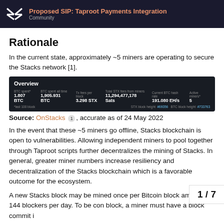Proposed SIP: Taproot Payments Integration | Community
Rationale
In the current state, approximately ~5 miners are operating to secure the Stacks network [1].
[Figure (screenshot): Overview dashboard showing BTC spent: 1.807 BTC, BTC spent all time: 1,905.931 BTC, Tx fees per block: 3.298 STX, Total STX fees from miners: 11,294,477,178 Sats, Current BTC hash rate: 191.080 EH/s, Active miners: 5. Footer: *last 100 block, STX block height: #69356, BTC block height: #733763]
Source: OnStacks 1, accurate as of 24 May 2022
In the event that these ~5 miners go offline, Stacks blockchain is open to vulnerabilities. Allowing independent miners to pool together through Taproot scripts further decentralizes the mining of Stacks. In general, greater miner numbers increase resiliency and decentralization of the Stacks blockchain which is a favorable outcome for the ecosystem.
A new Stacks block may be mined once per Bitcoin block amassing 144 blockers per day. To be con block, a miner must have a block commit i
1 / 7